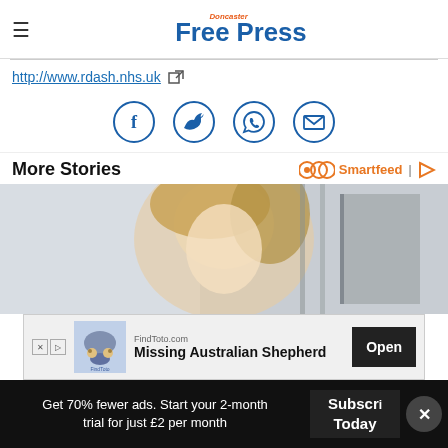Doncaster Free Press
http://www.rdash.nhs.uk
[Figure (infographic): Four social sharing icons in blue circles: Facebook, Twitter, WhatsApp, Email]
More Stories
Smartfeed
[Figure (photo): A woman with blonde hair and eyes closed, appears to be in a bathroom or shower setting]
[Figure (infographic): Advertisement banner: FindToto.com - Missing Australian Shepherd - Open button]
Get 70% fewer ads. Start your 2-month trial for just £2 per month
Subscribe Today